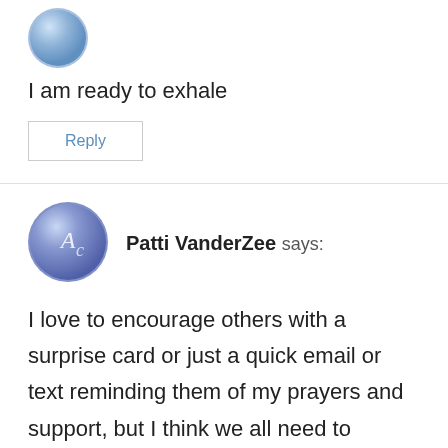[Figure (illustration): Circular avatar icon with blue gradient design]
I am ready to exhale
Reply
[Figure (illustration): Circular avatar icon with blue gradient and AC monogram design for Patti VanderZee]
Patti VanderZee says:
I love to encourage others with a surprise card or just a quick email or text reminding them of my prayers and support, but I think we all need to exhale at times!